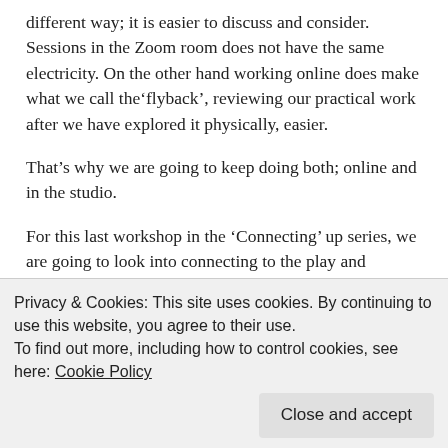different way; it is easier to discuss and consider. Sessions in the Zoom room does not have the same electricity. On the other hand working online does make what we call the‘flyback’, reviewing our practical work after we have explored it physically, easier.
That’s why we are going to keep doing both; online and in the studio.
For this last workshop in the ‘Connecting’ up series, we are going to look into connecting to the play and production. How do we all lead as director/teachers without didacticism? How does the actor fit into the ‘score’ of the production?
Privacy & Cookies: This site uses cookies. By continuing to use this website, you agree to their use.
To find out more, including how to control cookies, see here: Cookie Policy
creativity needs to be focussed towards the production. The